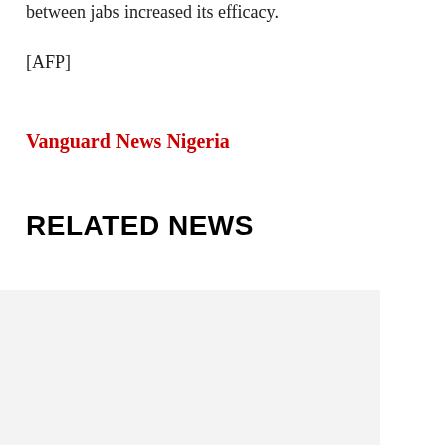between jabs increased its efficacy.
[AFP]
Vanguard News Nigeria
RELATED NEWS
[Figure (photo): Light grey placeholder image for a related news article thumbnail]